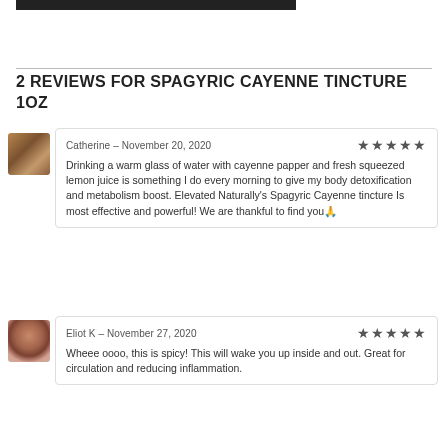[Figure (photo): Dark horizontal bar (product/logo graphic) at top of page]
2 REVIEWS FOR SPAGYRIC CAYENNE TINCTURE 1OZ
[Figure (photo): Avatar photo of reviewer Catherine - brownish indoor photo]
Catherine – November 20, 2020 ★★★★★
Drinking a warm glass of water with cayenne papper and fresh squeezed lemon juice is something I do every morning to give my body detoxification and metabolism boost. Elevated Naturally's Spagyric Cayenne tincture Is most effective and powerful! We are thankful to find you🙏
[Figure (photo): Avatar photo of reviewer Eliot K - portrait of woman with brown hair]
Eliot K – November 27, 2020 ★★★★★
Wheee oooo, this is spicy! This will wake you up inside and out. Great for circulation and reducing inflammation.